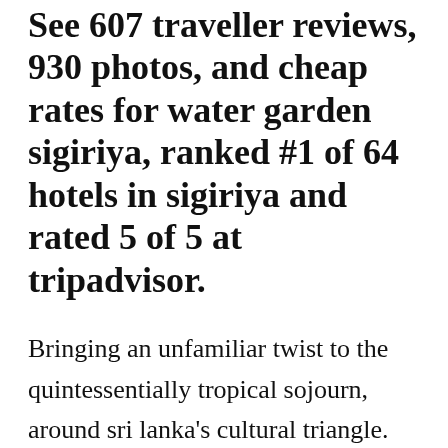See 607 traveller reviews, 930 photos, and cheap rates for water garden sigiriya, ranked #1 of 64 hotels in sigiriya and rated 5 of 5 at tripadvisor.
Bringing an unfamiliar twist to the quintessentially tropical sojourn, around sri lanka's cultural triangle. Check all reviews, photos, contact number & address of water garden sigiriya, sigiriya and free cancellation of resort. See 608 traveller reviews, 930 candid photos, and great deals